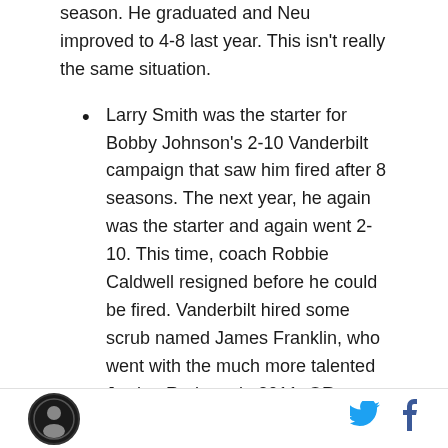season. He graduated and Neu improved to 4-8 last year. This isn't really the same situation.
Larry Smith was the starter for Bobby Johnson's 2-10 Vanderbilt campaign that saw him fired after 8 seasons. The next year, he again was the starter and again went 2-10. This time, coach Robbie Caldwell resigned before he could be fired. Vanderbilt hired some scrub named James Franklin, who went with the much more talented Jordan Rodgers in 2011. QB: graduated. Coach: 0 seasons
Austen Everson's 2005 season was the first for Frank Solich at Ohio. Everson was the starter for both 2005 and 2006...
[logo] [twitter] [facebook]